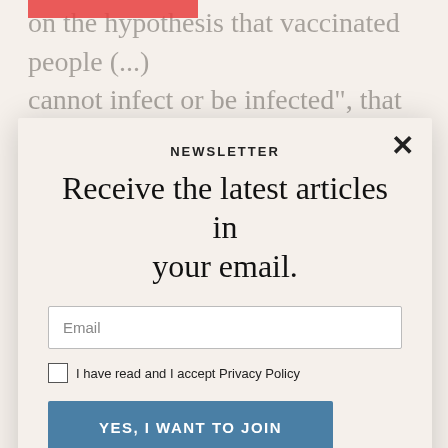on the hypothesis that vaccinated people (...) cannot infect or be infected", that is to say, that "vaccination does not exempt from contagion". To make matters worse, it published a table of regional epidemiological data "from the simple reading of which it can this measure ... accumulated incidence is similar to higher than to many other Autonomous Regions ... supposed ... port". It also repealed the arguments of the TSIA regarding the criterion of necessity and the limitations of
NEWSLETTER
Receive the latest articles in your email.
Email
I have read and I accept Privacy Policy
YES, I WANT TO JOIN